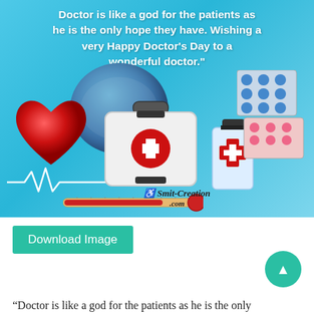[Figure (illustration): Doctor's Day greeting card illustration with light blue background, globe, red heart with EKG line, white medical bag with red cross, medicine bottle, pill strips, thermometer, and 'Smit-Creation.com' watermark. Quote text overlay at top in white bold font.]
Doctor is like a god for the patients as he is the only hope they have. Wishing a very Happy Doctor's Day to a wonderful doctor."
Download Image
“Doctor is like a god for the patients as he is the only